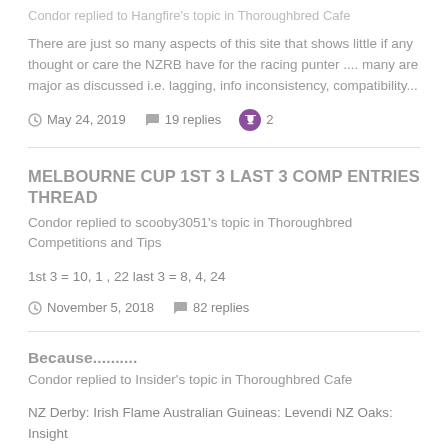Condor replied to Hangfire's topic in Thoroughbred Cafe
There are just so many aspects of this site that shows little if any thought or care the NZRB have for the racing punter .... many are major as discussed i.e. lagging, info inconsistency, compatibility...
May 24, 2019  19 replies  2
MELBOURNE CUP 1ST 3 LAST 3 COMP ENTRIES THREAD
Condor replied to scooby3051's topic in Thoroughbred Competitions and Tips
1st 3 = 10, 1 , 22 last 3 = 8, 4, 24
November 5, 2018  82 replies
Because..........
Condor replied to Insider's topic in Thoroughbred Cafe
NZ Derby: Irish Flame Australian Guineas: Levendi NZ Oaks: Insight